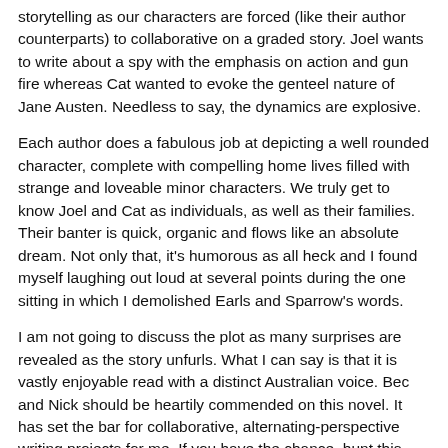storytelling as our characters are forced (like their author counterparts) to collaborative on a graded story. Joel wants to write about a spy with the emphasis on action and gun fire whereas Cat wanted to evoke the genteel nature of Jane Austen. Needless to say, the dynamics are explosive.
Each author does a fabulous job at depicting a well rounded character, complete with compelling home lives filled with strange and loveable minor characters. We truly get to know Joel and Cat as individuals, as well as their families. Their banter is quick, organic and flows like an absolute dream. Not only that, it's humorous as all heck and I found myself laughing out loud at several points during the one sitting in which I demolished Earls and Sparrow's words.
I am not going to discuss the plot as many surprises are revealed as the story unfurls. What I can say is that it is vastly enjoyable read with a distinct Australian voice. Bec and Nick should be heartily commended on this novel. It has set the bar for collaborative, alternating-perspective writing projects for me. If you have the chance, hunt this novel down, it will be worth it.